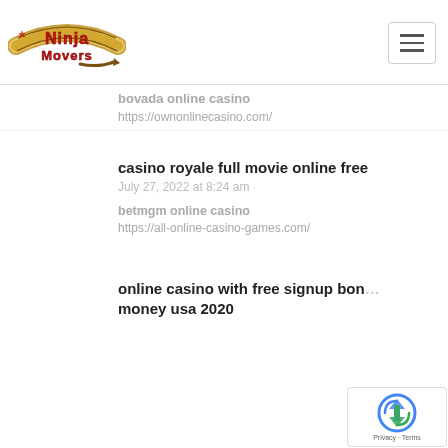[Figure (logo): Ninja Movers logo with red stylized text and brown arrow]
bovada online casino
https://ownonlinecasino.com/
casino royale full movie online free
July 27, 2022 at 8:24 am
betmgm online casino
https://all-online-casino-games.com/
online casino with free signup bonus real money usa 2020
[Figure (logo): Google reCAPTCHA badge with Privacy and Terms text]